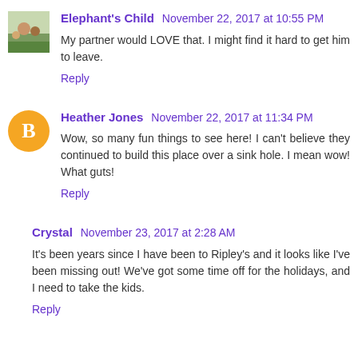Elephant's Child  November 22, 2017 at 10:55 PM
My partner would LOVE that. I might find it hard to get him to leave.
Reply
Heather Jones  November 22, 2017 at 11:34 PM
Wow, so many fun things to see here! I can't believe they continued to build this place over a sink hole. I mean wow! What guts!
Reply
Crystal  November 23, 2017 at 2:28 AM
It's been years since I have been to Ripley's and it looks like I've been missing out! We've got some time off for the holidays, and I need to take the kids.
Reply